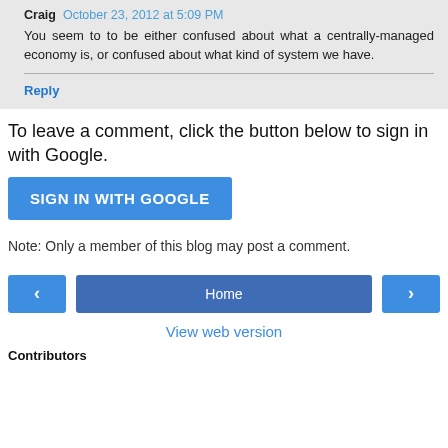Craig  October 23, 2012 at 5:09 PM
You seem to to be either confused about what a centrally-managed economy is, or confused about what kind of system we have.
Reply
To leave a comment, click the button below to sign in with Google.
SIGN IN WITH GOOGLE
Note: Only a member of this blog may post a comment.
Home
View web version
Contributors